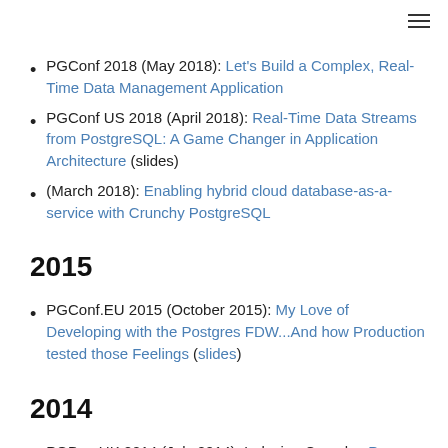PGConf 2018 (May 2018): Let's Build a Complex, Real-Time Data Management Application
PGConf US 2018 (April 2018): Real-Time Data Streams from PostgreSQL: A Game Changer in Application Architecture (slides)
(March 2018): Enabling hybrid cloud database-as-a-service with Crunchy PostgreSQL
2015
PGConf.EU 2015 (October 2015): My Love of Developing with the Postgres FDW...And how Production tested those Feelings (slides)
2014
PGDay UK 2014 (July 2014): Indexing Complex PostgreSQL Data Types (slides)